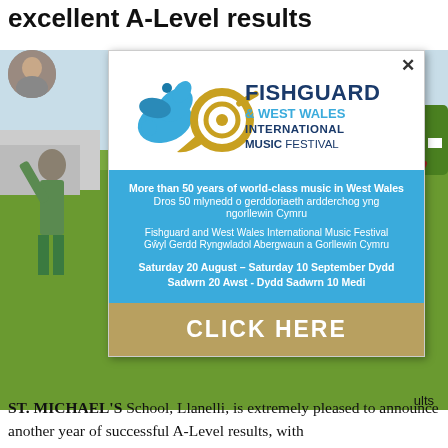excellent A-Level results
[Figure (advertisement): Fishguard & West Wales International Music Festival popup advertisement with logo, blue info band, and gold CLICK HERE button]
ST. MICHAEL'S School, Llanelli, is extremely pleased to announce another year of successful A-Level results, with